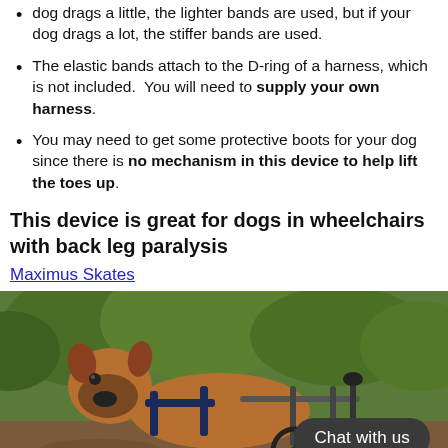dog drags a little, the lighter bands are used, but if your dog drags a lot, the stiffer bands are used.
The elastic bands attach to the D-ring of a harness, which is not included. You will need to supply your own harness.
You may need to get some protective boots for your dog since there is no mechanism in this device to help lift the toes up.
This device is great for dogs in wheelchairs with back leg paralysis
Maximus Skates
[Figure (photo): A boxer dog in a wheelchair/cart device with harness, outdoors in a wooded area. A dark 'Chat with us' button overlay appears in the lower right.]